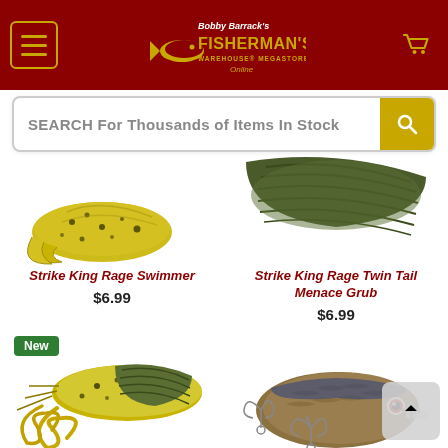Bobby Barrack's Fisherman's Warehouse Megastore Online
SEARCH For Thousands of Items In Stock
[Figure (photo): Partial view of Strike King Rage Swimmer fishing lure (yellow/black speckled soft bait)]
[Figure (photo): Partial view of Strike King Rage Twin Tail Menace Grub fishing lure (dark olive ribbed soft bait)]
Strike King Rage Swimmer
$6.99
Strike King Rage Twin Tail Menace Grub
$6.99
New
[Figure (photo): Strike King Rage Twin Tail Menace Grub fishing lure - yellow/green speckled soft plastic bait with twin curly tails]
[Figure (photo): Hard fishing lure crankbait - brown/blue natural pattern with treble hooks]